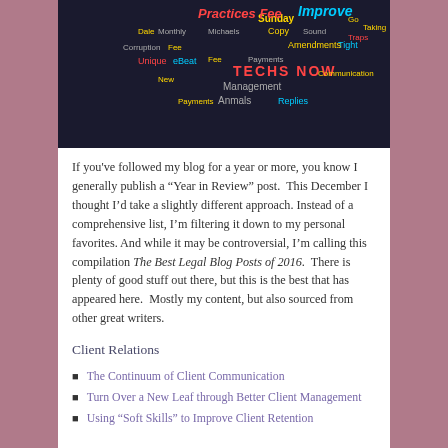[Figure (illustration): Word cloud on dark background with legal/blogging terms in multicolored text including 'Practices Fee', 'Improve', 'TECHS NOW', 'Management', 'Clients', 'Replies' and others]
If you've followed my blog for a year or more, you know I generally publish a “Year in Review” post. This December I thought I’d take a slightly different approach. Instead of a comprehensive list, I’m filtering it down to my personal favorites. And while it may be controversial, I’m calling this compilation The Best Legal Blog Posts of 2016. There is plenty of good stuff out there, but this is the best that has appeared here. Mostly my content, but also sourced from other great writers.
Client Relations
The Continuum of Client Communication
Turn Over a New Leaf through Better Client Management
Using “Soft Skills” to Improve Client Retention